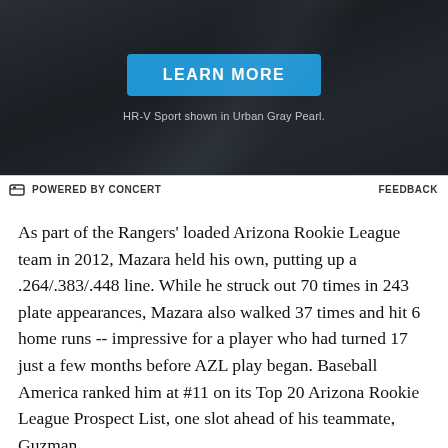[Figure (photo): Advertisement banner with dark background showing a 'LEARN MORE' blue button and text 'HR-V Sport shown in Urban Gray Pearl.' at the bottom. 'POWERED BY CONCERT' label on left and 'FEEDBACK' on right below the ad.]
As part of the Rangers' loaded Arizona Rookie League team in 2012, Mazara held his own, putting up a .264/.383/.448 line. While he struck out 70 times in 243 plate appearances, Mazara also walked 37 times and hit 6 home runs -- impressive for a player who had turned 17 just a few months before AZL play began. Baseball America ranked him at #11 on its Top 20 Arizona Rookie League Prospect List, one slot ahead of his teammate, Guzman.